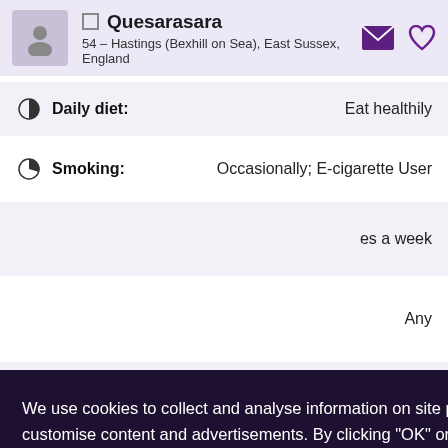Quesarasara — 54 – Hastings (Bexhill on Sea), East Sussex, England
Daily diet: Eat healthily
Smoking: Occasionally; E-cigarette User
...es a week
Any
Any
Any
ian; Mixed
Any
We use cookies to collect and analyse information on site performance and usage, and to enhance and customise content and advertisements. By clicking "OK" or clicking into any content on this site you agree to allow cookies to be placed. To find out more or to change your cookie settings, visit the cookies section of our Privacy Policy.
OK